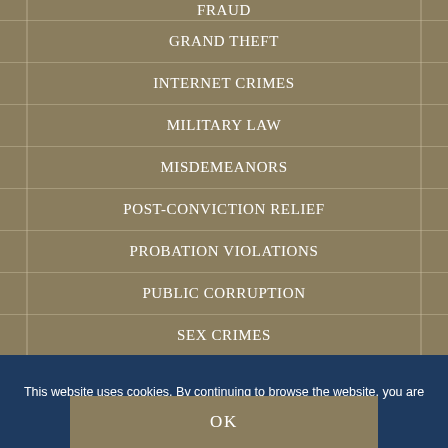FRAUD
GRAND THEFT
INTERNET CRIMES
MILITARY LAW
MISDEMEANORS
POST-CONVICTION RELIEF
PROBATION VIOLATIONS
PUBLIC CORRUPTION
SEX CRIMES
TRAFFIC CRIMES
This website uses cookies. By continuing to browse the website, you are agreeing to our use of cookies. Learn More
OK